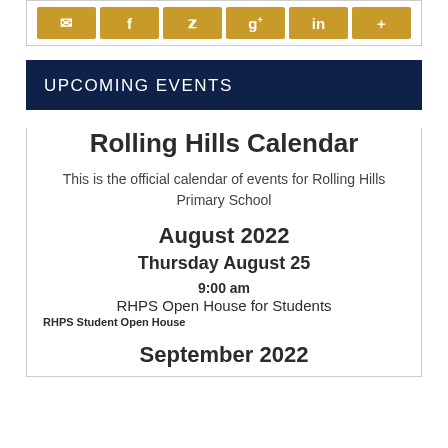[Figure (infographic): Social sharing buttons row: email, Facebook, Twitter, Google+, LinkedIn, More (plus icon), all in golden/amber color]
UPCOMING EVENTS
Rolling Hills Calendar
This is the official calendar of events for Rolling Hills Primary School
August 2022
Thursday August 25
9:00 am
RHPS Open House for Students
RHPS Student Open House
September 2022